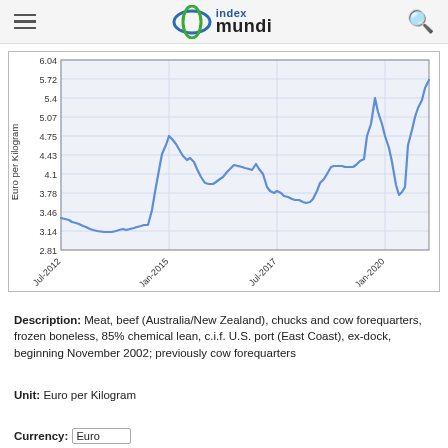index mundi
[Figure (continuous-plot): Line chart showing beef monthly price in Euro per Kilogram from Jul-2012 to ~Jan-2021. Y-axis ticks: 2.81, 3.14, 3.46, 3.78, 4.1, 4.43, 4.75, 5.07, 5.4, 5.72, 6.04. X-axis ticks: Jul-2012, Jan-2015, Jul-2017, Jan-2020. Price starts ~3.35, dips to ~3.10, rises to peak ~4.75 around Jan-2015, declines to ~3.45, fluctuates around 3.7-4.15 through 2017-2019, spikes to ~5.4 around Jan-2020, dips to ~3.75, then rises sharply to ~5.72 at end.]
Description: Meat, beef (Australia/New Zealand), chucks and cow forequarters, frozen boneless, 85% chemical lean, c.i.f. U.S. port (East Coast), ex-dock, beginning November 2002; previously cow forequarters
Unit: Euro per Kilogram
Currency: Euro